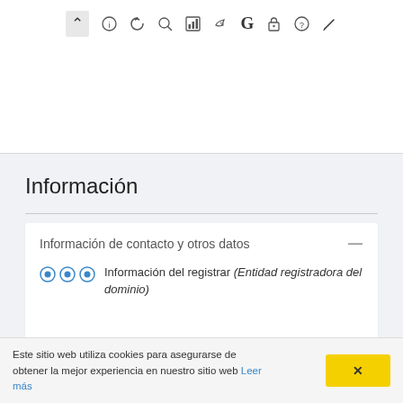[Figure (screenshot): Browser toolbar with navigation and utility icons: up arrow (active), info, refresh, search, chart/stats, thumbs-up, G (Google), lock, question mark, pencil]
Información
Información de contacto y otros datos
Información del registrar (Entidad registradora del dominio)
Información del dueño
Este sitio web utiliza cookies para asegurarse de obtener la mejor experiencia en nuestro sitio web Leer más